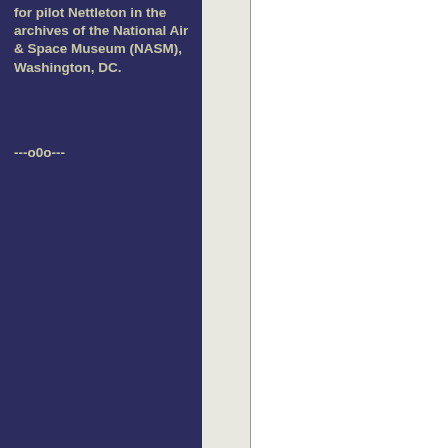for pilot Nettleton in the archives of the National Air & Space Museum (NASM), Washington, DC.
---o0o---